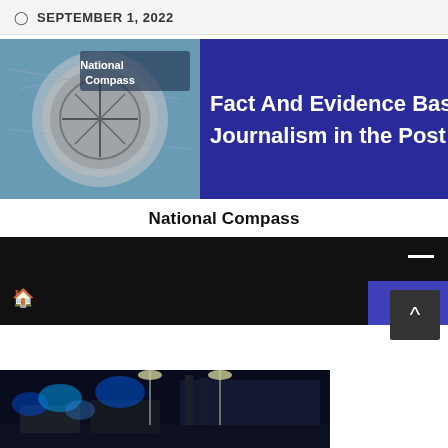SEPTEMBER 1, 2022
[Figure (logo): National Compass banner with compass image on left and text 'Fact And Evidence Based Journalism in the Post Trut' on dark blue background]
National Compass
[Figure (screenshot): Website navigation bar: dark background with hamburger menu icon top right, red house/home icon on left, and purple search button bottom right]
[Figure (photo): Night scene with emergency vehicles and blue flashing lights outside a building]